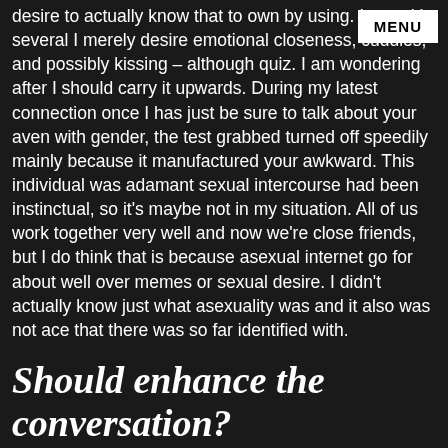desire to actually know that to own by using. I am with several I merely desire emotional closeness, cuddles, and possibly kissing – although quiz. I am wondering after I should carry it upwards. During my latest connection once I has just be sure to talk about your aven with gender, the test grabbed turned off speedily mainly because it manufactured your awkward. This individual was adamant sexual intercourse had been instinctual, so it's maybe not in my situation. All of us work together very well and now we're close friends, but I do think that is because asexual internet go for about well over memes or sexual desire. I didn't actually know just what asexuality was and it also was not ace that there was so far identified with.
Should enhance the conversation?